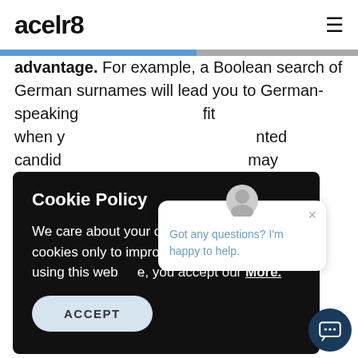acelr8
advantage. For example, a Boolean search of German surnames will lead you to German-speaking ... fit when ... inted candid ... may be infl ...
[Figure (screenshot): Cookie Policy modal overlay on acelr8 website. Title: 'Cookie Policy'. Body: 'We care about your data, and we’d use cookies only to improve your experience. By using this website, you accept our More.' Button: 'ACCEPT'. Also shows a chat popup saying 'Got any questions? I’m happy to help.']
For ex ... Germa ... candid ... surna ... s. conver ... to your advantage, but also use your intuitio...